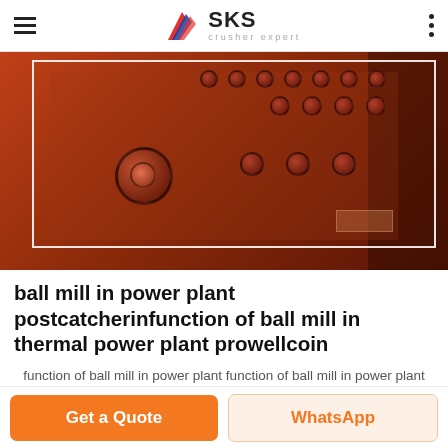SKS crusher expert
[Figure (photo): Close-up photo of industrial ball mill equipment, showing a red/orange painted heavy metal surface with circular bolt holes and mechanical components]
ball mill in power plant postcatcherinfunction of ball mill in thermal power plant prowellcoin
function of ball mill in power plant function of ball mill in power plant Cryogenic Grinding Mill For Spice Wholesale Grinding Suppliers Ceramic Batch Ball Mill Types of Boiler Coal
Get a Quote
WhatsApp